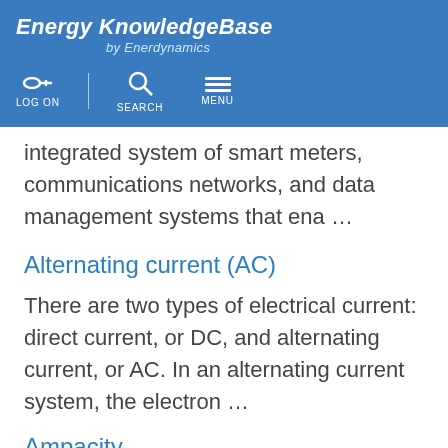Energy KnowledgeBase by Enerdynamics
integrated system of smart meters, communications networks, and data management systems that ena …
Alternating current (AC)
There are two types of electrical current: direct current, or DC, and alternating current, or AC. In an alternating current system, the electron …
Ampacity
Ampacity is commonly used in place of the formal term ampere capacity. Ampacity is the maximum amount of current, in amps, that a particular dev …